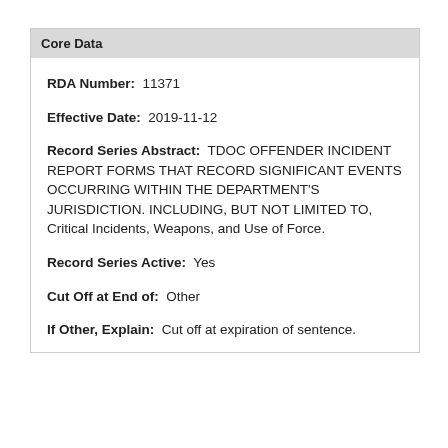Core Data
RDA Number:  11371
Effective Date:  2019-11-12
Record Series Abstract:  TDOC OFFENDER INCIDENT REPORT FORMS THAT RECORD SIGNIFICANT EVENTS OCCURRING WITHIN THE DEPARTMENT'S JURISDICTION. INCLUDING, BUT NOT LIMITED TO, Critical Incidents, Weapons, and Use of Force.
Record Series Active:  Yes
Cut Off at End of:  Other
If Other, Explain:  Cut off at expiration of sentence.